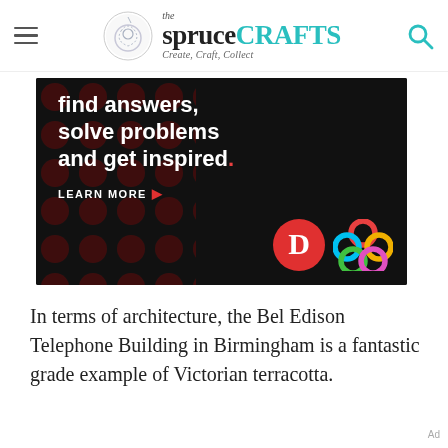the spruceCRAFTS — Create, Craft, Collect
[Figure (screenshot): Advertisement banner on black background with dark red polka dots. White bold text reads: 'find answers, solve problems and get inspired.' with a red period. Below: 'LEARN MORE ▶' in white. Bottom right shows a red circle with white letter D logo and a colorful interlocking rings logo.]
In terms of architecture, the Bel Edison Telephone Building in Birmingham is a fantastic grade example of Victorian terracotta.
Ad